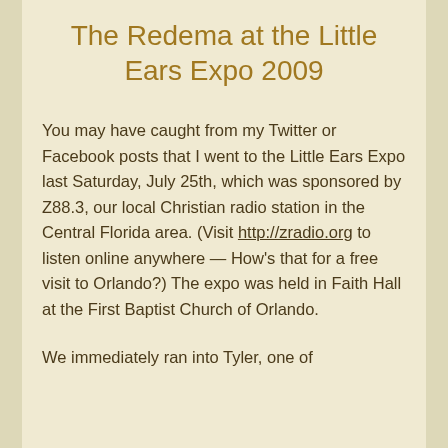The Redema at the Little Ears Expo 2009
You may have caught from my Twitter or Facebook posts that I went to the Little Ears Expo last Saturday, July 25th, which was sponsored by Z88.3, our local Christian radio station in the Central Florida area. (Visit http://zradio.org to listen online anywhere — How's that for a free visit to Orlando?) The expo was held in Faith Hall at the First Baptist Church of Orlando.
We immediately ran into Tyler, one of